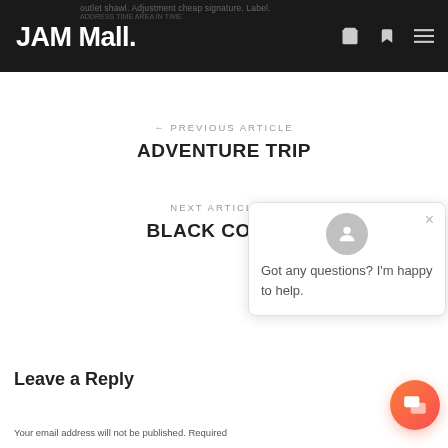JAM Mall.
← PREVIOUS ARTICLE
ADVENTURE TRIP
NEXT ARTICLE →
BLACK COFFEE
[Figure (screenshot): Chat popup with avatar icon and message: Got any questions? I'm happy to help. With a close (X) button.]
[Figure (illustration): Orange/red chat button in bottom-right corner]
Leave a Reply
Your email address will not be published. Required